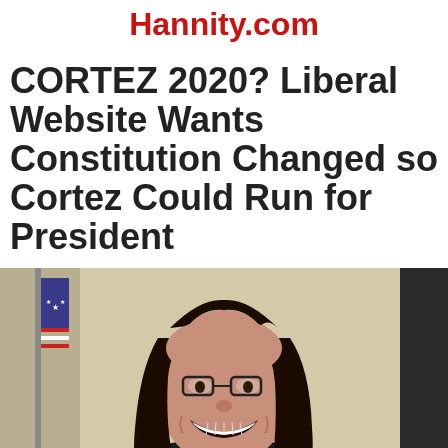Hannity.com
CORTEZ 2020? Liberal Website Wants Constitution Changed so Cortez Could Run for President
[Figure (photo): Woman with long dark hair and glasses, smiling broadly, wearing a black blazer. An American flag is visible in the background to the left, and a dark vertical panel on the right. The background appears to be a beige/cream colored interior wall.]